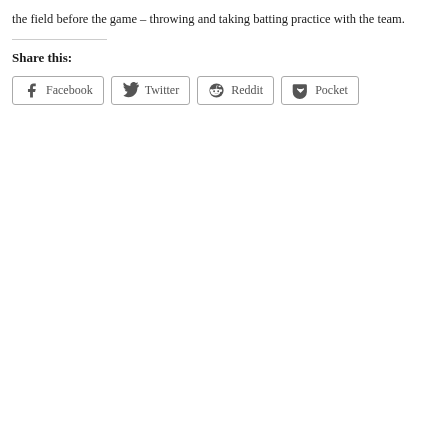the field before the game – throwing and taking batting practice with the team.
Share this:
Facebook Twitter Reddit Pocket